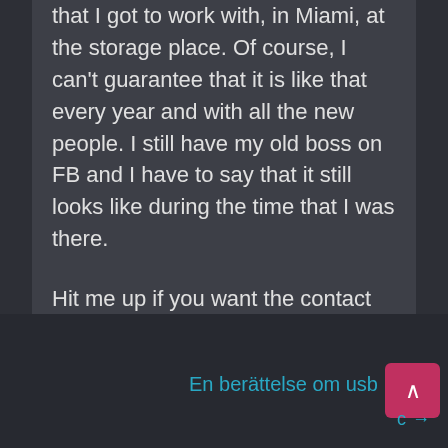This had a lot to do with the great people that I got to work with, in Miami, at the storage place. Of course, I can't guarantee that it is like that every year and with all the new people. I still have my old boss on FB and I have to say that it still looks like during the time that I was there.
Hit me up if you want the contact details to the storage in Miami!
En berättelse om usb
c →